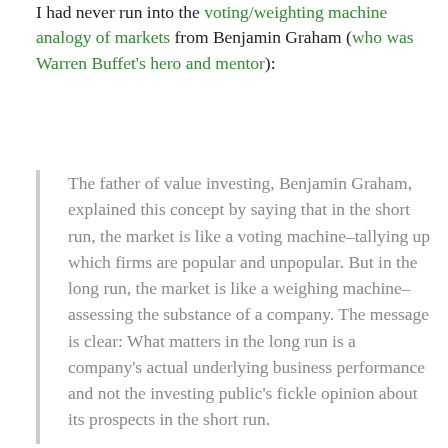I had never run into the voting/weighting machine analogy of markets from Benjamin Graham (who was Warren Buffet's hero and mentor):
The father of value investing, Benjamin Graham, explained this concept by saying that in the short run, the market is like a voting machine–tallying up which firms are popular and unpopular. But in the long run, the market is like a weighing machine–assessing the substance of a company. The message is clear: What matters in the long run is a company's actual underlying business performance and not the investing public's fickle opinion about its prospects in the short run.